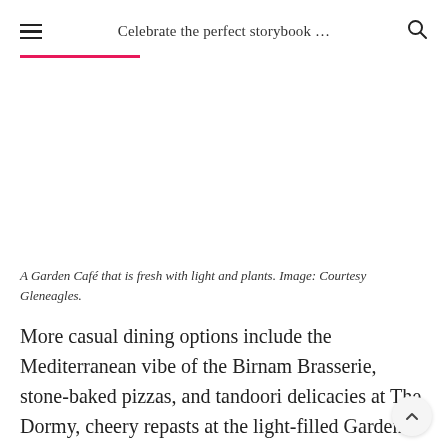Celebrate the perfect storybook …
[Figure (photo): A Garden Café interior photo showing a bright space with light and plants (image placeholder area).]
A Garden Café that is fresh with light and plants. Image: Courtesy Gleneagles.
More casual dining options include the Mediterranean vibe of the Birnam Brasserie, stone-baked pizzas, and tandoori delicacies at The Dormy, cheery repasts at the light-filled Garden Café, and seasonal afternoon tea at The Glendevon